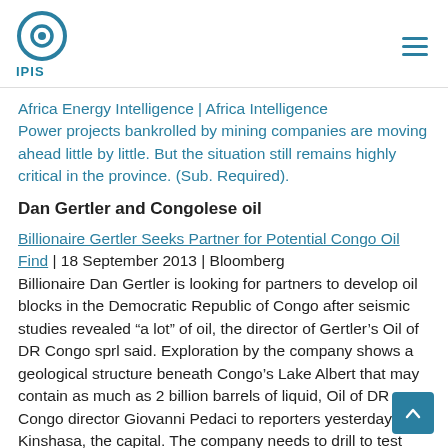IPIS
Africa Energy Intelligence | Africa Intelligence
Power projects bankrolled by mining companies are moving ahead little by little. But the situation still remains highly critical in the province. (Sub. Required).
Dan Gertler and Congolese oil
Billionaire Gertler Seeks Partner for Potential Congo Oil Find | 18 September 2013 | Bloomberg
Billionaire Dan Gertler is looking for partners to develop oil blocks in the Democratic Republic of Congo after seismic studies revealed “a lot” of oil, the director of Gertler’s Oil of DR Congo sprl said. Exploration by the company shows a geological structure beneath Congo’s Lake Albert that may contain as much as 2 billion barrels of liquid, Oil of DR Congo director Giovanni Pedaci to reporters yesterday in Kinshasa, the capital. The company needs to drill to test how much oil the